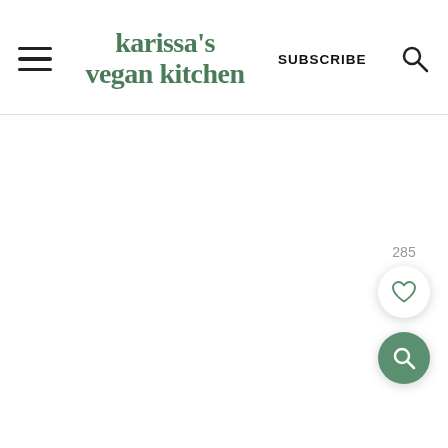karissa's vegan kitchen | SUBSCRIBE | [hamburger menu] [search icon]
[Figure (screenshot): White content area below the header, mostly blank]
285
[Figure (other): Heart (favorite) floating action button — white circle with green heart icon, count 285 above]
[Figure (other): Search floating action button — green circle with white search/magnifying glass icon]